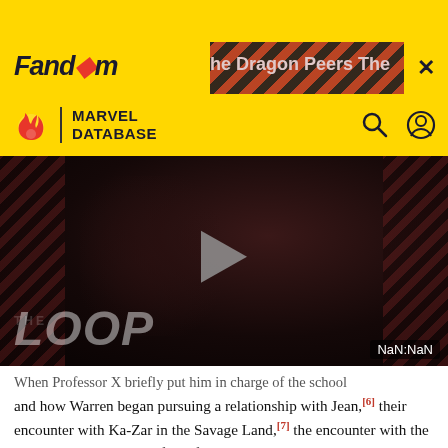[Figure (screenshot): Fandom website header with yellow background, Fandom logo in bold italic, ad overlay with diagonal red/dark stripes, and X close button]
[Figure (screenshot): Marvel Database navigation bar with flame logo icon, MARVEL DATABASE text, search and user icons on yellow background]
[Figure (screenshot): Video player showing 'THE LOOP' with dark background, diagonal stripes on sides, play button triangle in center, NaN:NaN timer]
When Professor X briefly put him in charge of the school and how Warren began pursuing a relationship with Jean,[6] their encounter with Ka-Zar in the Savage Land,[7] the encounter with the Stranger that saw the defeat of their old enemies Magneto and Toad,[8] and their battles against the Juggernaut[9] and the Sentinels.[10]